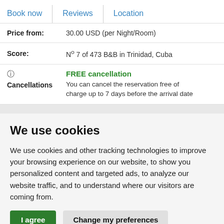Book now | Reviews | Location
| Price from: | 30.00 USD (per Night/Room) |
| Score: | Nº 7 of 473 B&B in Trinidad, Cuba |
| Cancellations | FREE cancellation
You can cancel the reservation free of charge up to 7 days before the arrival date |
We use cookies
We use cookies and other tracking technologies to improve your browsing experience on our website, to show you personalized content and targeted ads, to analyze our website traffic, and to understand where our visitors are coming from.
I agree  Change my preferences